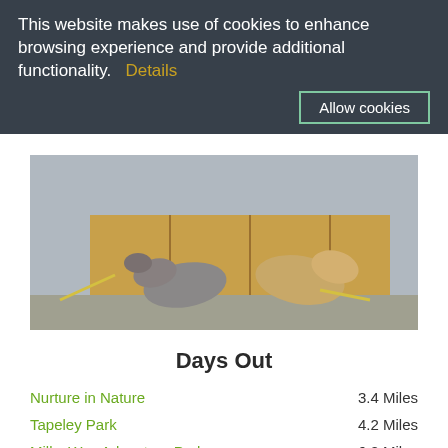This website makes use of cookies to enhance browsing experience and provide additional functionality.  Details
Allow cookies
[Figure (photo): Two dogs sniffing near wooden crates on a paved surface outdoors]
Days Out
Nurture in Nature    3.4 Miles
Tapeley Park    4.2 Miles
Milky Way Adventure Park    6.2 Miles
SEE MORE